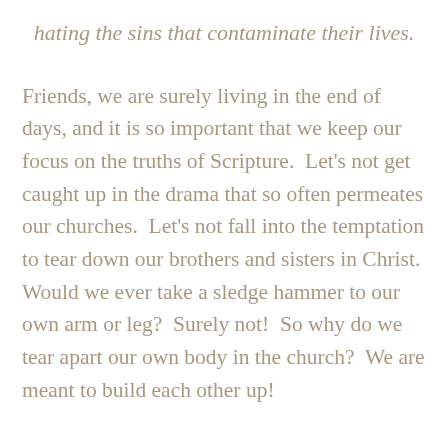hating the sins that contaminate their lives.
Friends, we are surely living in the end of days, and it is so important that we keep our focus on the truths of Scripture.  Let's not get caught up in the drama that so often permeates our churches.  Let's not fall into the temptation to tear down our brothers and sisters in Christ.  Would we ever take a sledge hammer to our own arm or leg?  Surely not!  So why do we tear apart our own body in the church?  We are meant to build each other up!